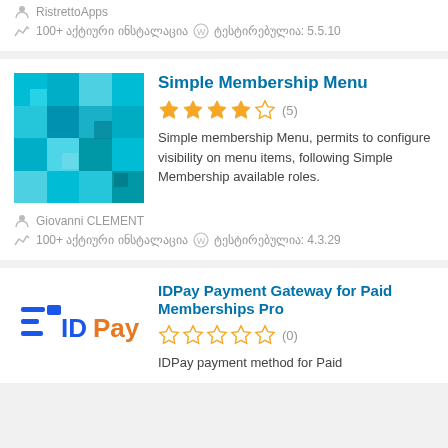RistrettoApps
100+ აქტიური ინსტალაცია  ტესტირებულია: 5.5.10
Simple Membership Menu
[Figure (other): Plugin thumbnail with blue pixel mosaic pattern]
★★★★☆ (5)
Simple membership Menu, permits to configure visibility on menu items, following Simple Membership available roles.
Giovanni CLEMENT
100+ აქტიური ინსტალაცია  ტესტირებულია: 4.3.29
IDPay Payment Gateway for Paid Memberships Pro
[Figure (logo): IDPay logo with blue horizontal lines and blue/orange text]
☆☆☆☆☆ (0)
IDPay payment method for Paid